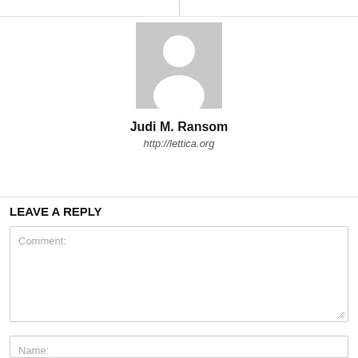[Figure (illustration): Generic user avatar placeholder image — gray background with white silhouette of a person (head and shoulders)]
Judi M. Ransom
http://lettica.org
LEAVE A REPLY
Comment: